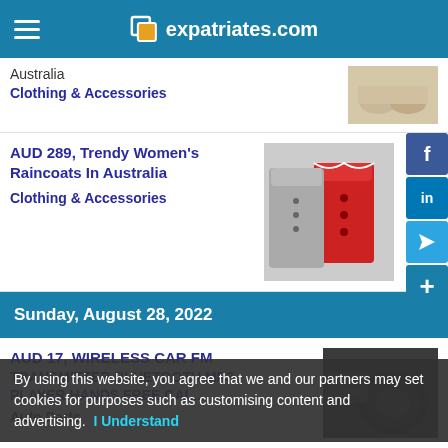expatriates.com
Australia
Clothing & Accessories
AUD 289, Trendy Women's Raincoats In Australia
Clothing & Accessories
Sunday, August 28, 2022
AUD 17, WIRELESS CAR FM TRANSMITTER BLUETOOTH MP3 PLAYER HANDS FREE CAL...
Auto Parts
By using this website, you agree that we and our partners may set cookies for purposes such as customising content and advertising. I Understand